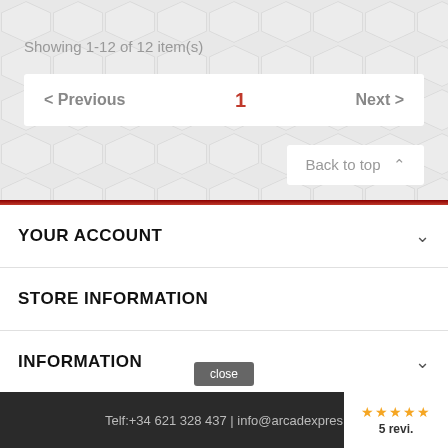Showing 1-12 of 12 item(s)
< Previous   1   Next >
Back to top ^
YOUR ACCOUNT
STORE INFORMATION
INFORMATION
OUR COMPANY
Telf:+34 621 328 437 | info@arcadexpres...   5 revi.